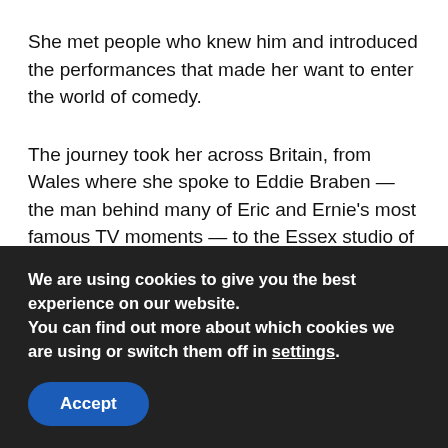She met people who knew him and introduced the performances that made her want to enter the world of comedy.
The journey took her across Britain, from Wales where she spoke to Eddie Braben — the man behind many of Eric and Ernie's most famous TV moments — to the Essex studio of the artist who painted the entertainer at the height of his fame.
While the pair were a hit, reports show that Morecambe
We are using cookies to give you the best experience on our website.
You can find out more about which cookies we are using or switch them off in settings.
Accept